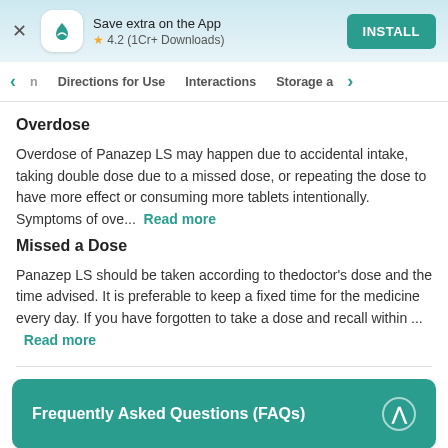[Figure (screenshot): App install banner with close button, app icon, rating 4.2 (1Cr+ Downloads), and INSTALL button]
< n  Directions for Use  Interactions  Storage a  >
Overdose
Overdose of Panazep LS may happen due to accidental intake, taking double dose due to a missed dose, or repeating the dose to have more effect or consuming more tablets intentionally. Symptoms of ove...  Read more
Missed a Dose
Panazep LS should be taken according to thedoctor's dose and the time advised. It is preferable to keep a fixed time for the medicine every day. If you have forgotten to take a dose and recall within ...  Read more
Frequently Asked Questions (FAQs)